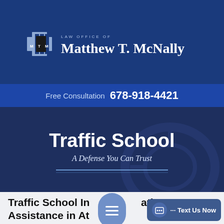[Figure (logo): Law Office of Matthew T. McNally logo with MTM monogram on dark navy background]
Free Consultation  678-918-4421
Traffic School
A Defense You Can Trust
Traffic School In[...]ation Assistance in At[...]